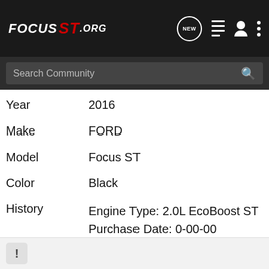FOCUS ST.ORG — navigation bar with NEW, list, user, and menu icons
Search Community
| Field | Value |
| --- | --- |
| Year | 2016 |
| Make | FORD |
| Model | Focus ST |
| Color | Black |
| History | Engine Type: 2.0L EcoBoost ST
Purchase Date: 0-00-00
Vehicle Mileage: 7000 Miles
Purchase Price: $0.00 CAD
Total Spent: $0.00 CAD |